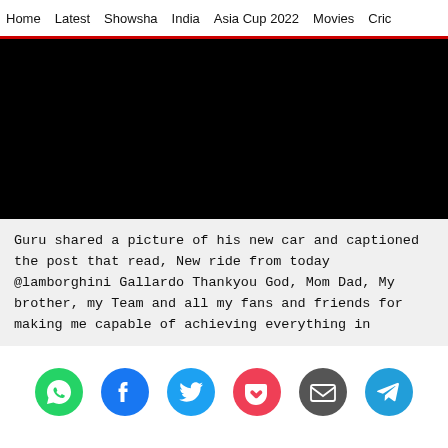Home  Latest  Showsha  India  Asia Cup 2022  Movies  Cric
[Figure (photo): Black video/image placeholder area]
Guru shared a picture of his new car and captioned the post that read, New ride from today @lamborghini Gallardo Thankyou God, Mom Dad, My brother, my Team and all my fans and friends for making me capable of achieving everything in
[Figure (infographic): Social share icons row: WhatsApp (green), Facebook (blue), Twitter (light blue), Pocket (red/pink), Email (dark grey), Telegram (blue)]